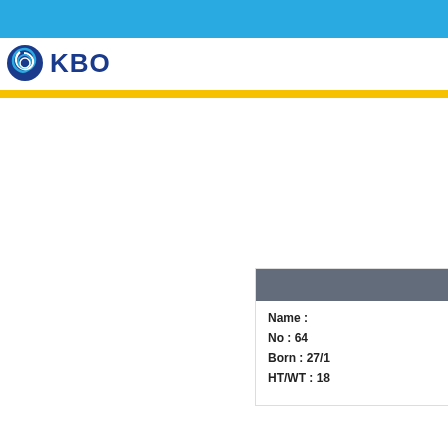KBO
| Name : |  |
| No : | 64 |
| Born : | 27/1 |
| HT/WT : | 18 |